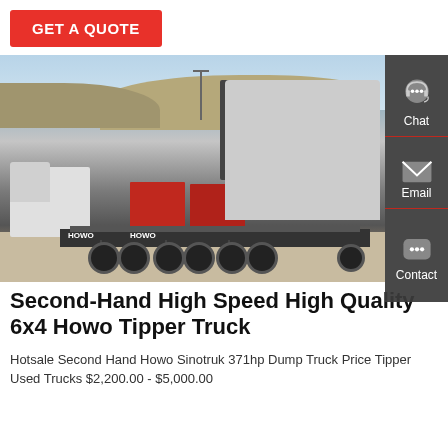GET A QUOTE
[Figure (photo): A HOWO 6x4 tipper/dump truck parked in an open yard with mountains in the background. Other trucks (white and red) are visible to the left. The truck is silver/grey with a black chassis and multiple rear axles. The HOWO brand name is visible on the chassis.]
Second-Hand High Speed High Quality 6x4 Howo Tipper Truck
Hotsale Second Hand Howo Sinotruk 371hp Dump Truck Price Tipper Used Trucks $2,200.00 - $5,000.00